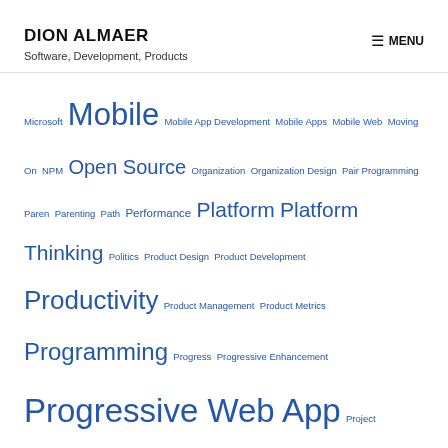DION ALMAER — Software, Development, Products | MENU
Microsoft Mobile Mobile App Development Mobile Apps Mobile Web Moving On NPM Open Source Organization Organization Design Pair Programming Paren Parenting Path Performance Platform Platform Thinking Politics Product Design Product Development Productivity Product Management Product Metrics Programming Progress Progressive Enhancement Progressive Web App Project Management Psychology Push Notifications pwa QA Rails React Reactive Remix Remote Working Resilience Ruby on Rails Screentime Self Improvement Service Worker Sharing Economy Shipping Shopify Short Story Silicon Valley Slack Software Software Development Spaced Repetition Speaking Startup Steve Jobs Study Teaching Team Building Tech Tool